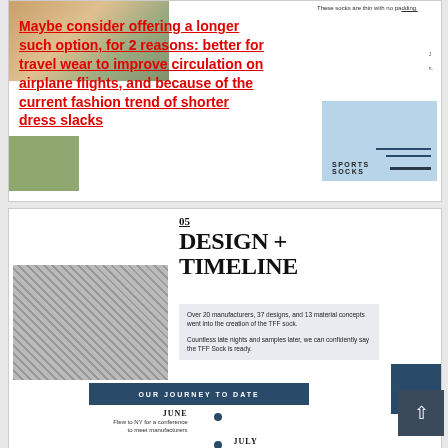[Figure (photo): Photo of person wearing socks, cropped at top of page]
These socks are thin with no padding.
Maybe consider offering a longer such option, for 2 reasons: better for travel wear to improve circulation on airplane flights, and because of the current fashion trend of shorter dress slacks
[Figure (infographic): Blue box with SPORTS SOCKS label and dark horizontal bars]
[Figure (photo): Design sketches and materials photo]
05
DESIGN + TIMELINE
Over 20 manufacturers, 37 designs, and 13 material concepts went into the creation of the TFF sock.
Countless late nights and samples later, we can confidently say the TFF Sock is ready.
OUR JOURNEY TO DATE
JUNE
Flew to NY for a conference to meet manufacturers
JULY
Flew to NY for a conference to meet manufacturers
AUGUST
Spoke with over 20 domestic and international manufacturers
Suggest